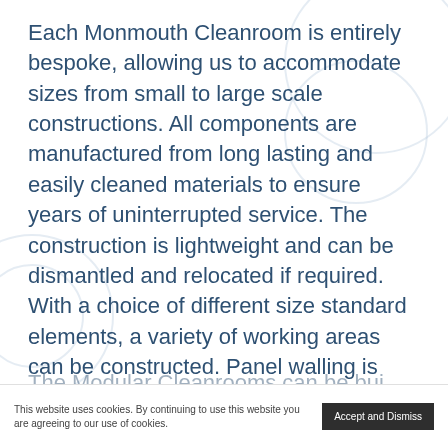Each Monmouth Cleanroom is entirely bespoke, allowing us to accommodate sizes from small to large scale constructions. All components are manufactured from long lasting and easily cleaned materials to ensure years of uninterrupted service. The construction is lightweight and can be dismantled and relocated if required. With a choice of different size standard elements, a variety of working areas can be constructed. Panel walling is constructed from aluminium composite, to suit requirements, and clear non-break polycarbonate creates window panes.
The Modular Cleanrooms can be bui... without changing/entrance areas. The entra...
This website uses cookies. By continuing to use this website you are agreeing to our use of cookies.